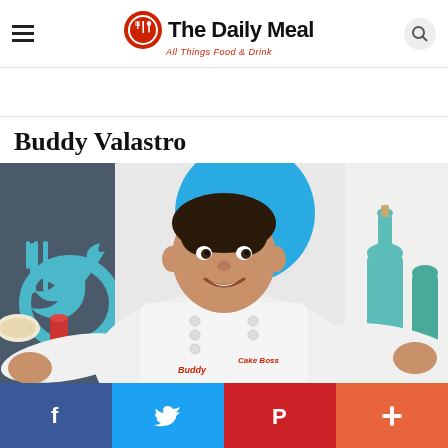The Daily Meal — All Things Food & Drink
Buddy Valastro
[Figure (photo): Buddy Valastro, a chef wearing a white chef's coat with 'Buddy' embroidered on it and a 'Cake Boss' logo, smiling with arms spread wide. Background shows Twitter bird logos in teal/cyan and kitchen props including bottles and bowls.]
Social share bar: Facebook, Twitter, Pinterest, More